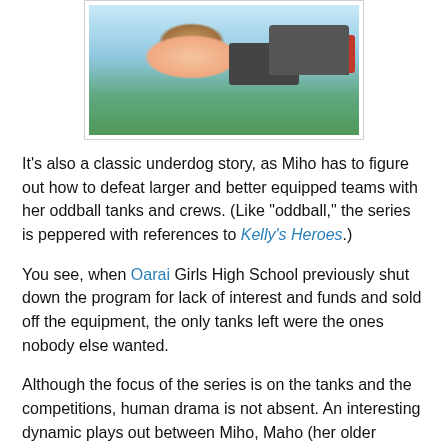[Figure (illustration): Anime-style image showing a girl in a sailor school uniform in front of military tanks, with a blue sky background. Tanks include a dark tank and a red tank.]
It's also a classic underdog story, as Miho has to figure out how to defeat larger and better equipped teams with her oddball tanks and crews. (Like "oddball," the series is peppered with references to Kelly's Heroes.)
You see, when Oarai Girls High School previously shut down the program for lack of interest and funds and sold off the equipment, the only tanks left were the ones nobody else wanted.
Although the focus of the series is on the tanks and the competitions, human drama is not absent. An interesting dynamic plays out between Miho, Maho (her older sister), and their mother. Naturally, the national championship comes down to a battle between the two tanks personally commanded by Miho and Maho.